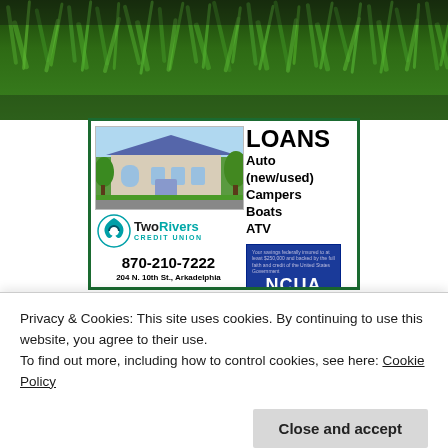[Figure (photo): Green grass/vegetation background photo at top of page]
[Figure (photo): Two Rivers Credit Union advertisement. Shows building photo, logo, phone 870-210-7222, address 204 N. 10th St. Arkadelphia, loans list (Auto new/used, Campers, Boats, ATV), NCUA logo, and call to action 'Click to visit our website']
Privacy & Cookies: This site uses cookies. By continuing to use this website, you agree to their use.
To find out more, including how to control cookies, see here: Cookie Policy
Close and accept
Member SIPC